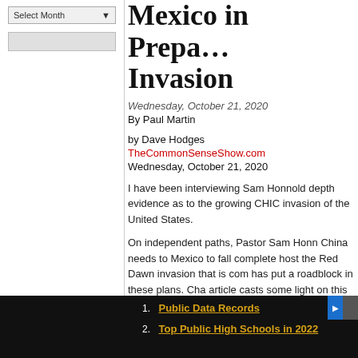[Figure (screenshot): Dropdown select box labeled 'Select Month']
Mexico in Prepa… Invasion
Wednesday, October 21, 2020
By Paul Martin
by Dave Hodges
TheCommonSenseShow.com
Wednesday, October 21, 2020
I have been interviewing Sam Honnold depth evidence as to the growing CHIC invasion of the United States.
On independent paths, Pastor Sam Honn China needs to Mexico to fall complete host the Red Dawn invasion that is com has put a roadblock in these plans. Cha article casts some light on this issue. T how it coincides with the warnings issu
1. Public Data Records
2. Top Public High Schools in 2022